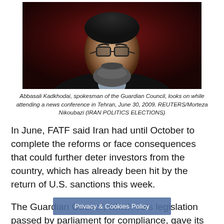[Figure (photo): Portrait photo of Abbasali Kadkhodai, a man with glasses and a beard, wearing a dark jacket, against a dark red background.]
Abbasali Kadkhodai, spokesman of the Guardian Council, looks on while attending a news conference in Tehran, June 30, 2009. REUTERS/Morteza Nikoubazi (IRAN POLITICS ELECTIONS)
In June, FATF said Iran had until October to complete the reforms or face consequences that could further deter investors from the country, which has already been hit by the return of U.S. sanctions this week.
The Guardian Council, which vets legislation passed by parliament for compliance, gave its approval to the legal amo funding of